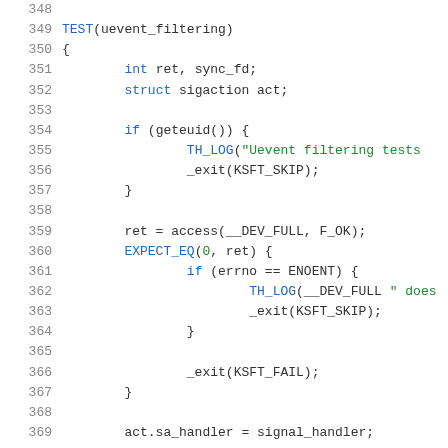[Figure (screenshot): Source code listing showing C function TEST(uevent_filtering) with line numbers 348-369, syntax highlighted in blue and green on white background.]